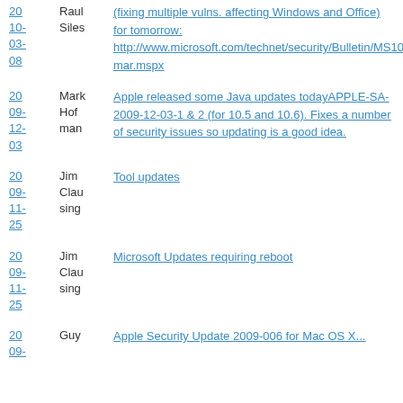| Date | Author | Content |
| --- | --- | --- |
| 20
10-
03-
08 | Raul
Siles | (fixing multiple vulns. affecting Windows and Office) for tomorrow: http://www.microsoft.com/technet/security/Bulletin/MS10-mar.mspx |
| 20
09-
12-
03 | Mark
Hof
man | Apple released some Java updates todayAPPLE-SA-2009-12-03-1 & 2 (for 10.5 and 10.6). Fixes a number of security issues so updating is a good idea. |
| 20
09-
11-
25 | Jim
Clau
sing | Tool updates |
| 20
09-
11-
25 | Jim
Clau
sing | Microsoft Updates requiring reboot |
| 20
09- | Guy | Apple Security Update 2009-006 for Mac OS X... |